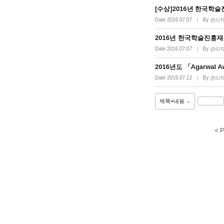[수상]2016년 한국학술진흥재단(Lab... Date 2016.07.07 | By 관리자관리 | V
2016년 한국학술진흥재단 연구과제 선정 공고 / 2016... Date 2016.07.07 | By 관리자관리 | V
2016년도 「Agarwal Awa... Date 2016.07.12 | By 관리자관리 | V
제목+내용 ∨
< P